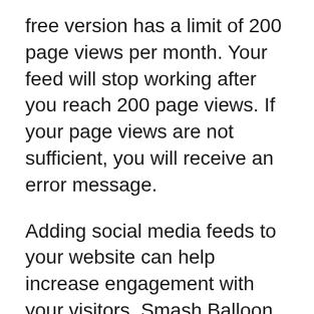free version has a limit of 200 page views per month. Your feed will stop working after you reach 200 page views. If your page views are not sufficient, you will receive an error message.
Adding social media feeds to your website can help increase engagement with your visitors. Smash Balloon has 5 plugins that allow you to connect to your Instagram, Twitter, or Facebook feeds to your site. Each plugin will need to be purchased separately. Therefore, it's important to know your business objectives before selecting a social media manager. This is crucial to your success.
Pri...